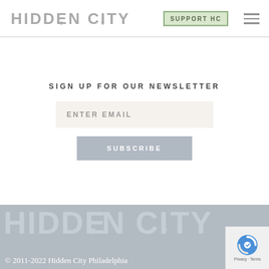HIDDEN CITY  SUPPORT HC
SIGN UP FOR OUR NEWSLETTER
ENTER EMAIL
SUBSCRIBE
[Figure (logo): Hidden City large logo text in gray on gray footer background]
© 2011-2022 Hidden City Philadelphia